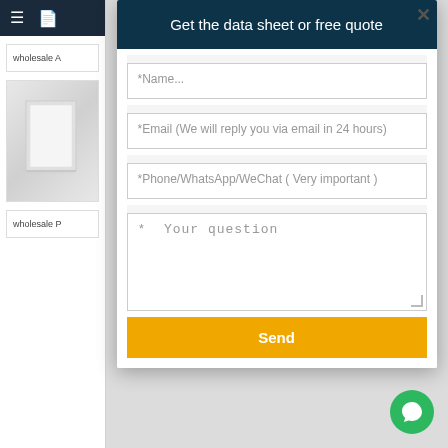Get the data sheet or free quote
*Name...
*Email (We will reply you via email in 24 hours)
*Phone/WhatsApp/WeChat ( Very important )
* Your question
Send
wholesale A
wholesale P